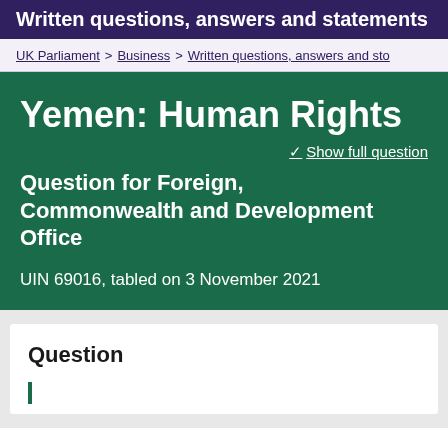Written questions, answers and statements
UK Parliament > Business > Written questions, answers and sto
Yemen: Human Rights
✓ Show full question
Question for Foreign, Commonwealth and Development Office
UIN 69016, tabled on 3 November 2021
Question